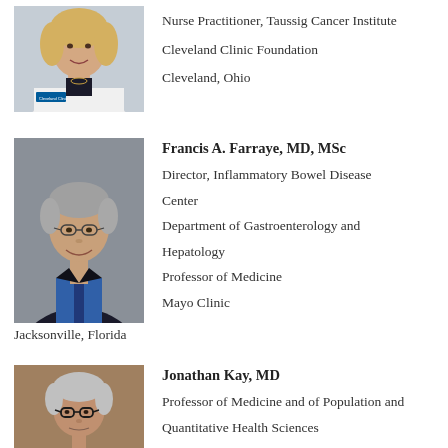[Figure (photo): Photo of female nurse practitioner in white lab coat, blonde hair, Cleveland Clinic badge]
Nurse Practitioner, Taussig Cancer Institute
Cleveland Clinic Foundation
Cleveland, Ohio
[Figure (photo): Photo of Francis A. Farraye, MD, MSc — older man with grey hair, glasses, dark suit jacket, blue shirt and tie]
Francis A. Farraye, MD, MSc
Director, Inflammatory Bowel Disease Center
Department of Gastroenterology and Hepatology
Professor of Medicine
Mayo Clinic
Jacksonville, Florida
[Figure (photo): Photo of Jonathan Kay, MD — older man with grey hair, glasses]
Jonathan Kay, MD
Professor of Medicine and of Population and Quantitative Health Sciences